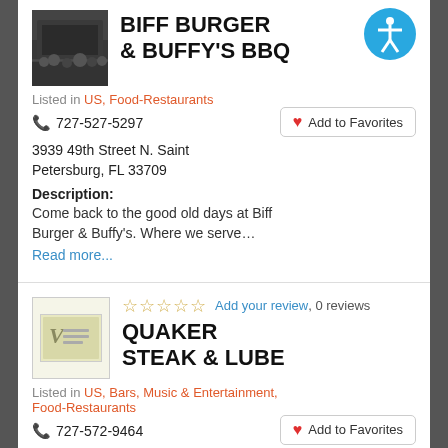[Figure (photo): Thumbnail photo for Biff Burger & Buffy's BBQ listing, dark image of restaurant]
BIFF BURGER & BUFFY'S BBQ
[Figure (other): Accessibility icon button - blue circle with white person figure]
Listed in US, Food-Restaurants
727-527-5297
Add to Favorites
3939 49th Street N. Saint Petersburg, FL 33709
Description:
Come back to the good old days at Biff Burger & Buffy's. Where we serve…
Read more...
[Figure (other): Thumbnail placeholder with V logo for Quaker Steak & Lube]
Add your review, 0 reviews
QUAKER STEAK & LUBE
Listed in US, Bars, Music & Entertainment, Food-Restaurants
727-572-9464
Add to Favorites
10400 49th Street North